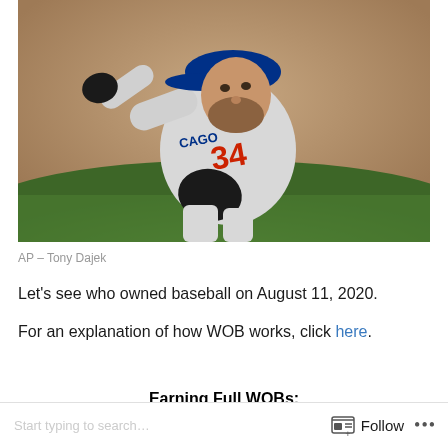[Figure (photo): A Chicago Cubs pitcher wearing number 34 in a grey uniform and blue cap mid-throwing motion on a baseball field, with a blurred outfield background. Photo credit: AP – Tony Dajek]
AP – Tony Dajek
Let's see who owned baseball on August 11, 2020.
For an explanation of how WOB works, click here.
Earning Full WOBs:
Follow